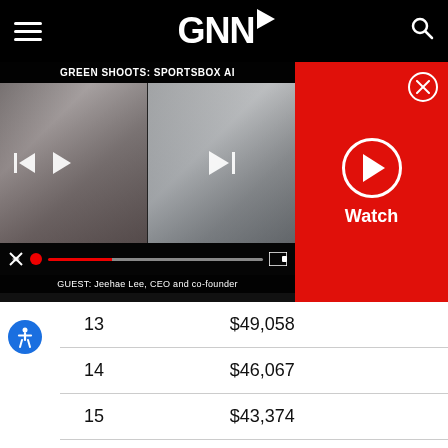GNN (Golf News Network) Navigation Bar
[Figure (screenshot): Video player showing GREEN SHOOTS: SPORTSBOX AI with two video thumbnails, playback controls, and guest caption: GUEST: Jeehae Lee, CEO and co-founder]
[Figure (other): Red Watch panel with circular play button and Watch label, with close X button]
| Row | Amount |
| --- | --- |
| 13 | $49,058 |
| 14 | $46,067 |
| 15 | $43,374 |
| 16 | $40,981 |
| 17 | $38,889 |
| 18 | $37,093 |